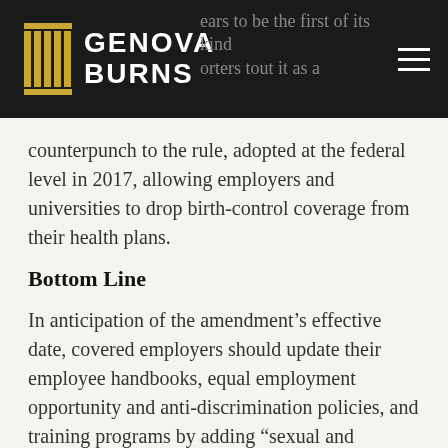Genova Burns — navigation header
counterpunch to the rule, adopted at the federal level in 2017, allowing employers and universities to drop birth-control coverage from their health plans.
Bottom Line
In anticipation of the amendment's effective date, covered employers should update their employee handbooks, equal employment opportunity and anti-discrimination policies, and training programs by adding “sexual and reproductive health decisions” to the list of categories upon which employees are protected from discrimination. They should also instruct human resources…